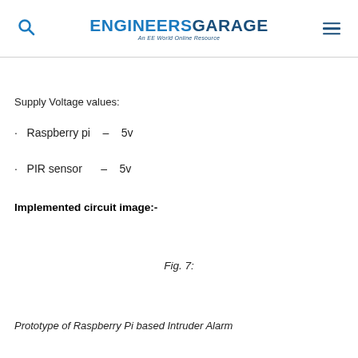ENGINEERS GARAGE — An EE World Online Resource
Supply Voltage values:
Raspberry pi  –  5v
PIR sensor  –  5v
Implemented circuit image:-
Fig. 7:
Prototype of Raspberry Pi based Intruder Alarm